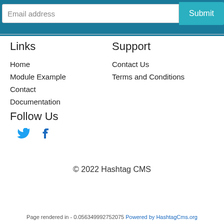Links
Home
Module Example
Contact
Documentation
Follow Us
[Figure (other): Social media icons: Twitter bird icon and Facebook 'f' icon in blue]
Support
Contact Us
Terms and Conditions
© 2022 Hashtag CMS
Page rendered in - 0.056349992752075 Powered by HashtagCms.org